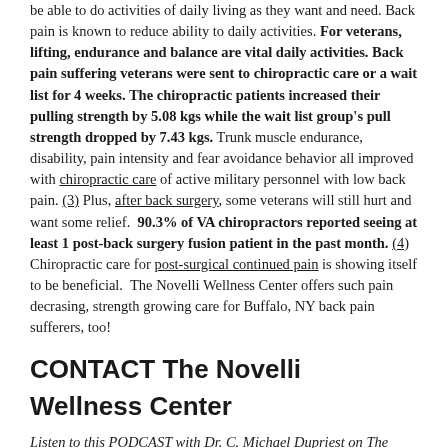be able to do activities of daily living as they want and need. Back pain is known to reduce ability to daily activities. For veterans, lifting, endurance and balance are vital daily activities. Back pain suffering veterans were sent to chiropractic care or a wait list for 4 weeks. The chiropractic patients increased their pulling strength by 5.08 kgs while the wait list group's pull strength dropped by 7.43 kgs. Trunk muscle endurance, disability, pain intensity and fear avoidance behavior all improved with chiropractic care of active military personnel with low back pain. (3) Plus, after back surgery, some veterans will still hurt and want some relief.  90.3% of VA chiropractors reported seeing at least 1 post-back surgery fusion patient in the past month. (4) Chiropractic care for post-surgical continued pain is showing itself to be beneficial.  The Novelli Wellness Center offers such pain decrasing, strength growing care for Buffalo, NY back pain sufferers, too!
CONTACT The Novelli Wellness Center
Listen to this PODCAST with Dr. C. Michael Dupriest on The Back Doctors Podcast with Dr. Michael Johnson as he describes beneficial and relieving chiropractic care integrating the Cox®